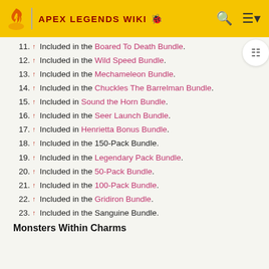APEX LEGENDS WIKI
11. ↑ Included in the Boared To Death Bundle.
12. ↑ Included in the Wild Speed Bundle.
13. ↑ Included in the Mechameleon Bundle.
14. ↑ Included in the Chuckles The Barrelman Bundle.
15. ↑ Included in Sound the Horn Bundle.
16. ↑ Included in the Seer Launch Bundle.
17. ↑ Included in Henrietta Bonus Bundle.
18. ↑ Included in the 150-Pack Bundle.
19. ↑ Included in the Legendary Pack Bundle.
20. ↑ Included in the 50-Pack Bundle.
21. ↑ Included in the 100-Pack Bundle.
22. ↑ Included in the Gridiron Bundle.
23. ↑ Included in the Sanguine Bundle.
Monsters Within Charms